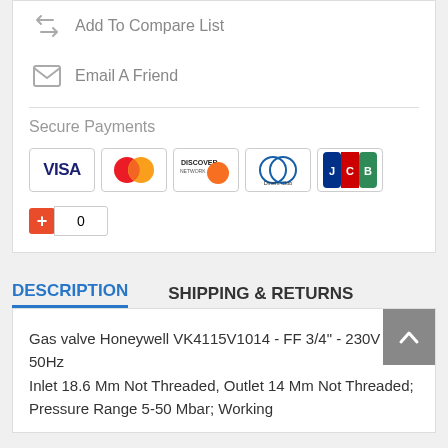Add To Compare List
Email A Friend
Secure Payments
[Figure (infographic): Payment method icons: VISA, Mastercard, Discover, Diners Club, JCB]
0
DESCRIPTION    SHIPPING & RETURNS
Gas valve Honeywell VK4115V1014 - FF 3/4" - 230V 50Hz
Inlet 18.6 Mm Not Threaded, Outlet 14 Mm Not Threaded; Pressure Range 5-50 Mbar; Working